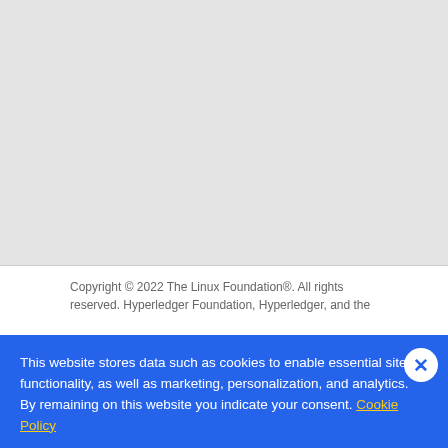[Figure (screenshot): Gray blank area representing a webpage content region]
Copyright © 2022 The Linux Foundation®. All rights reserved. Hyperledger Foundation, Hyperledger, and the
This website stores data such as cookies to enable essential site functionality, as well as marketing, personalization, and analytics. By remaining on this website you indicate your consent. Cookie Policy